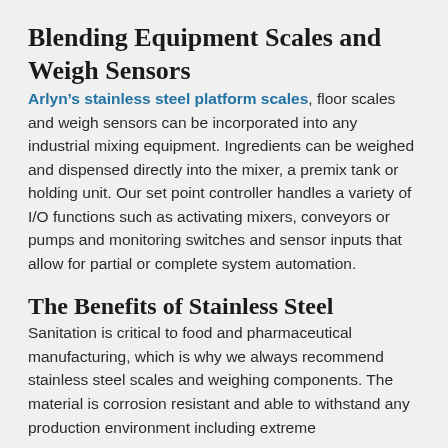Blending Equipment Scales and Weigh Sensors
Arlyn’s stainless steel platform scales, floor scales and weigh sensors can be incorporated into any industrial mixing equipment. Ingredients can be weighed and dispensed directly into the mixer, a premix tank or holding unit. Our set point controller handles a variety of I/O functions such as activating mixers, conveyors or pumps and monitoring switches and sensor inputs that allow for partial or complete system automation.
The Benefits of Stainless Steel
Sanitation is critical to food and pharmaceutical manufacturing, which is why we always recommend stainless steel scales and weighing components. The material is corrosion resistant and able to withstand any production environment including extreme